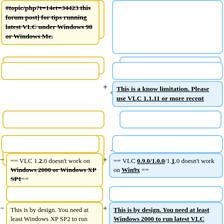[forum post] for tips running latest VLC under Windows 98 or Windows Me. (strikethrough bold)
(empty yellow box right)
(empty boxes row)
This is a know limitation. Please use VLC 1.1.11 or more recent
(empty boxes row)
== VLC 1.2.0 doesn't work on Windows 2000 or Windows XP SP1== (strikethrough)
== VLC 0.9.0/1.0.0/1.1.0 doesn't work on Win9x ==
(empty boxes row)
This is by design. You need at least Windows XP SP2 to run latest VLC 1.2.x.
This is by design. You need at least Windows 2000 to run latest VLC 1.1.x.